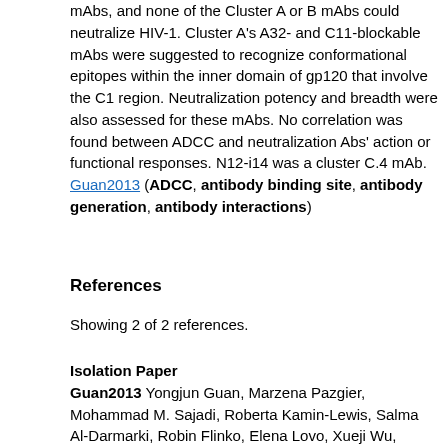mAbs, and none of the Cluster A or B mAbs could neutralize HIV-1. Cluster A's A32- and C11-blockable mAbs were suggested to recognize conformational epitopes within the inner domain of gp120 that involve the C1 region. Neutralization potency and breadth were also assessed for these mAbs. No correlation was found between ADCC and neutralization Abs' action or functional responses. N12-i14 was a cluster C.4 mAb. Guan2013 (ADCC, antibody binding site, antibody generation, antibody interactions)
References
Showing 2 of 2 references.
Isolation Paper
Guan2013 Yongjun Guan, Marzena Pazgier, Mohammad M. Sajadi, Roberta Kamin-Lewis, Salma Al-Darmarki, Robin Flinko, Elena Lovo, Xueji Wu, James E. Robinson, Michael S. Seaman, Timothy R. Fouts,